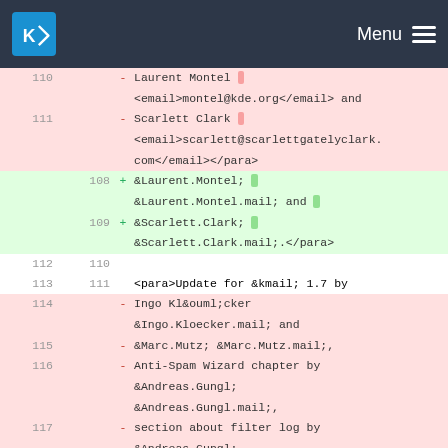KDE Menu
[Figure (screenshot): Code diff view showing removed and added lines with line numbers. Removed lines (pink background) show XML/DocBook markup with author names Laurent Montel and Scarlett Clark with email tags. Added lines (green background) show entity references &Laurent.Montel; and &Scarlett.Clark; with .mail entities. Context lines show blank line 110/112 and line 113/111 with <para>Update for &kmail; 1.7 by. More removed lines 114-117 show Ingo Klöcker, Marc Mutz, Andreas Gungl entries with mail entities.]